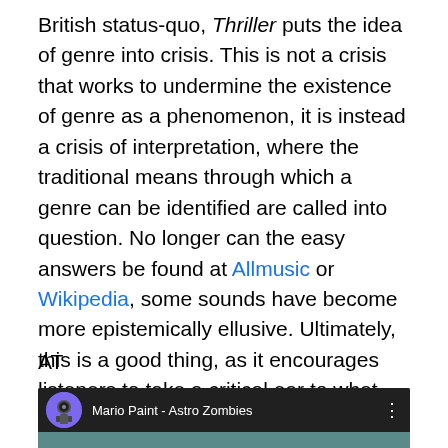British status-quo, Thriller puts the idea of genre into crisis. This is not a crisis that works to undermine the existence of genre as a phenomenon, it is instead a crisis of interpretation, where the traditional means through which a genre can be identified are called into question. No longer can the easy answers be found at Allmusic or Wikipedia, some sounds have become more epistemically ellusive. Ultimately, this is a good thing, as it encourages listeners to take a critical ear to what they are listening to – and how they come to understand it.
AT
[Figure (screenshot): YouTube video embed showing 'Mario Paint - Astro Zombies' with a music staff visualization and animated characters including robots and hearts on a teal background, with a YouTube play button at the bottom.]